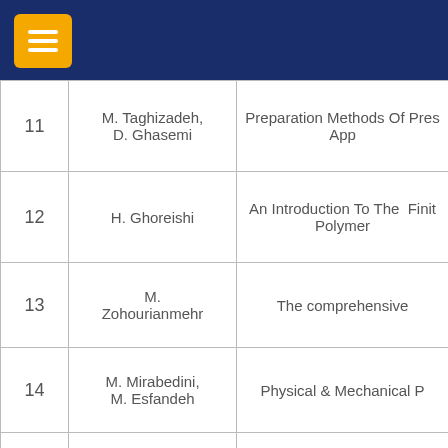| # | Author(s) | Title |
| --- | --- | --- |
| 11 | M. Taghizadeh, D. Ghasemi | Preparation Methods Of Pres... App... |
| 12 | H. Ghoreishi | An Introduction To The Fini... Polyme... |
| 13 | M. Zohourianmehr | The comprehensive... |
| 14 | M. Mirabedini, M. Esfandeh | Physical & Mechanical P... |
| 15 | I.Ghasemi, H. Azizi, S. Gomari, M. Minaei Zaeem | Theoretical & Practical Fou... |